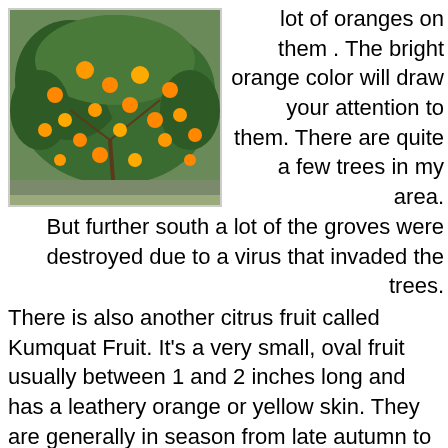[Figure (photo): Orange tree with many bright orange fruits visible among green leaves]
lot of oranges on them . The bright orange color will draw your attention to them. There are quite a few trees in my area.
But further south a lot of the groves were destroyed due to a virus that invaded the trees.
There is also another citrus fruit called Kumquat Fruit. It's a very small, oval fruit usually between 1 and 2 inches long and has a leathery orange or yellow skin. They are generally in season from late autumn to mid-winter. The skin is much sweeter than the